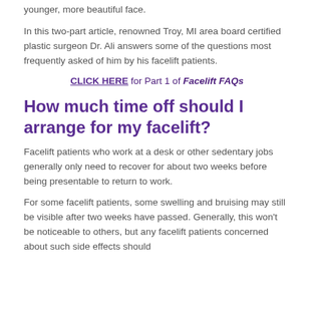younger, more beautiful face.
In this two-part article, renowned Troy, MI area board certified plastic surgeon Dr. Ali answers some of the questions most frequently asked of him by his facelift patients.
CLICK HERE for Part 1 of Facelift FAQs
How much time off should I arrange for my facelift?
Facelift patients who work at a desk or other sedentary jobs generally only need to recover for about two weeks before being presentable to return to work.
For some facelift patients, some swelling and bruising may still be visible after two weeks have passed. Generally, this won't be noticeable to others, but any facelift patients concerned about such side effects should